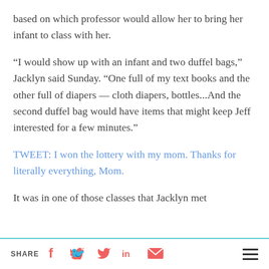based on which professor would allow her to bring her infant to class with her.
“I would show up with an infant and two duffel bags,” Jacklyn said Sunday. “One full of my text books and the other full of diapers — cloth diapers, bottles...And the second duffel bag would have items that might keep Jeff interested for a few minutes.”
TWEET: I won the lottery with my mom. Thanks for literally everything, Mom.
It was in one of those classes that Jacklyn met
SHARE